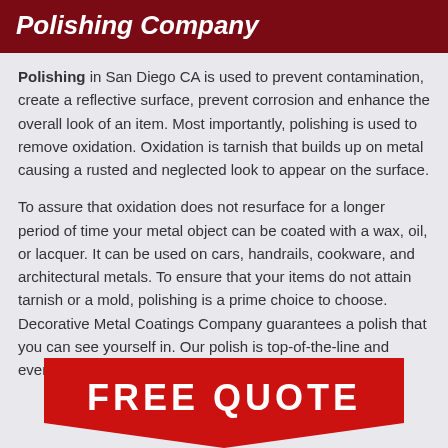Polishing Company
Polishing in San Diego CA is used to prevent contamination, create a reflective surface, prevent corrosion and enhance the overall look of an item. Most importantly, polishing is used to remove oxidation. Oxidation is tarnish that builds up on metal causing a rusted and neglected look to appear on the surface.
To assure that oxidation does not resurface for a longer period of time your metal object can be coated with a wax, oil, or lacquer. It can be used on cars, handrails, cookware, and architectural metals. To ensure that your items do not attain tarnish or a mold, polishing is a prime choice to choose. Decorative Metal Coatings Company guarantees a polish that you can see yourself in. Our polish is top-of-the-line and everything you would ever imagine a polish to be.
[Figure (infographic): Red badge/ribbon shape with white text reading FREE QUOTE, partially visible at bottom of page]